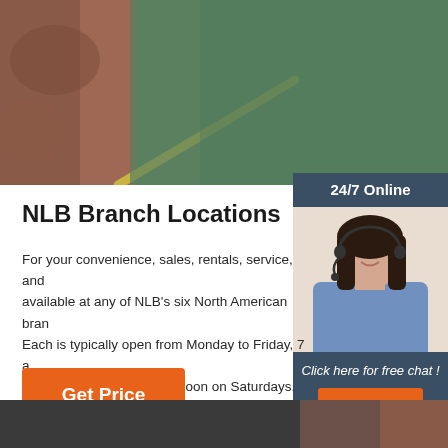[Figure (photo): Top banner photo showing industrial floor surface with colored markings — red/brown stones on left, green painted floor, and yellow diagonal line]
NLB Branch Locations
For your convenience, sales, rentals, service, and available at any of NLB's six North American bran Each is typically open from Monday to Friday, 7 a (local time), and 8 a.m. to noon on Saturdays.
[Figure (photo): Sidebar with '24/7 Online' header, photo of smiling woman with headset, and 'Click here for free chat!' text with orange QUOTATION button]
Get Price
[Figure (photo): Bottom banner photo showing dark industrial surface]